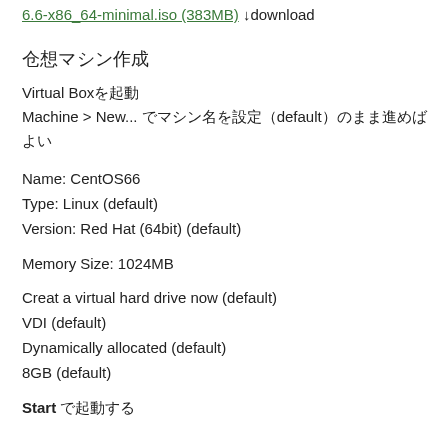6.6-x86_64-minimal.iso (383MB) ↓download
仮想マシン作成
Virtual Boxを起動
Machine > New... でマシン名を設定(default)のまま進めばよい
Name: CentOS66
Type: Linux (default)
Version: Red Hat (64bit) (default)
Memory Size: 1024MB
Creat a virtual hard drive now (default)
VDI (default)
Dynamically allocated (default)
8GB (default)
Start で起動する